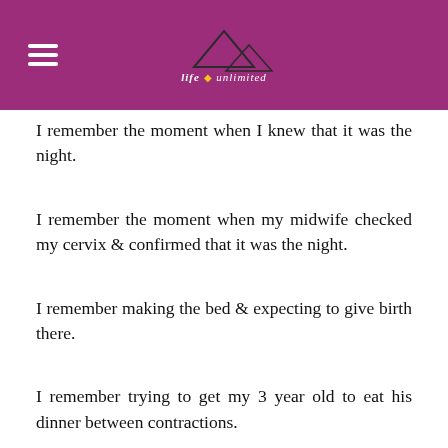Life Unlimited (logo)
I remember the moment when I knew that it was the night.
I remember the moment when my midwife checked my cervix & confirmed that it was the night.
I remember making the bed & expecting to give birth there.
I remember trying to get my 3 year old to eat his dinner between contractions.